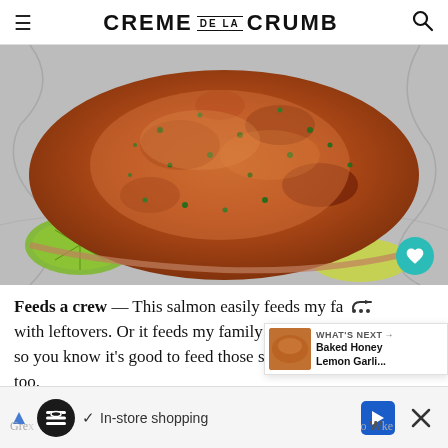CREME DE LA CRUMB
[Figure (photo): Close-up photo of broiled/baked salmon fillet on aluminum foil, topped with herbs and spices, with lemon slices visible beneath]
Feeds a crew — This salmon easily feeds my fa with leftovers. Or it feeds my family and my parents so you know it's good to feed those surp too.
[Figure (screenshot): WHAT'S NEXT overlay showing Baked Honey Lemon Garli... with thumbnail image]
[Figure (screenshot): In-store shopping advertisement banner with logo, checkmark, navigation arrow, and close button]